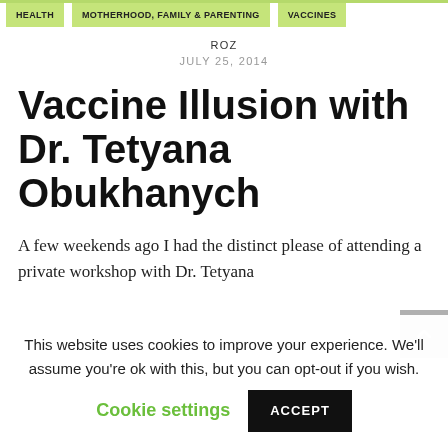HEALTH | MOTHERHOOD, FAMILY & PARENTING | VACCINES
ROZ
JULY 25, 2014
Vaccine Illusion with Dr. Tetyana Obukhanych
A few weekends ago I had the distinct please of attending a private workshop with Dr. Tetyana
This website uses cookies to improve your experience. We'll assume you're ok with this, but you can opt-out if you wish. Cookie settings ACCEPT